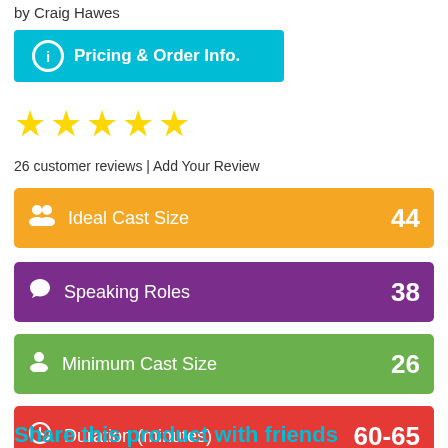by Craig Hawes
Pricing & Order Info.
[Figure (other): Five yellow star rating]
26 customer reviews | Add Your Review
Ideal Cast Size 44
Speaking Roles 38
Minimum Cast Size 26
Duration (minutes) 60-65
Share this product with friends